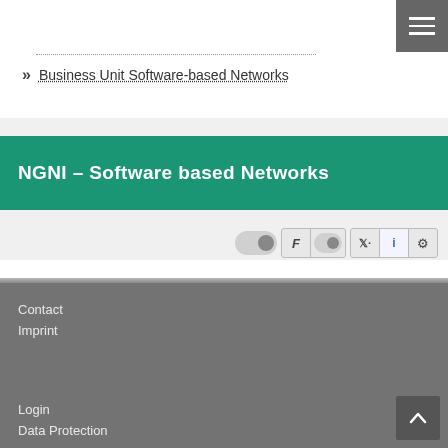[Figure (screenshot): Hamburger menu button (three horizontal white lines on dark gray background) in top-right corner]
» Business Unit Software-based Networks
NGNI – Software based Networks
[Figure (screenshot): Toolbar with toggle switches and icon buttons: toggle switch, F+toggle group, Twitter+info+gear icon group]
Contact
Imprint
Login
Data Protection
[Figure (screenshot): Back to top arrow button (dark gray square with upward chevron)]